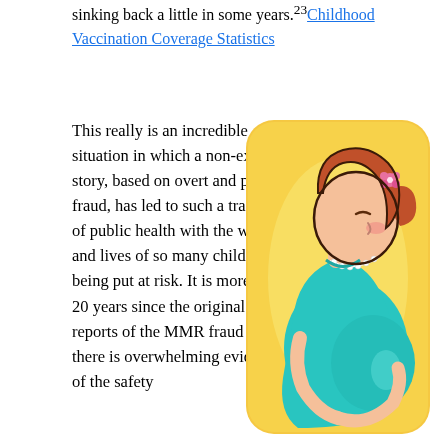sinking back a little in some years.²³ Childhood Vaccination Coverage Statistics
This really is an incredible situation in which a non-existent story, based on overt and proven fraud, has led to such a tragedy of public health with the welfare and lives of so many children being put at risk. It is more than 20 years since the original case reports of the MMR fraud and there is overwhelming evidence of the safety
[Figure (illustration): Cartoon illustration of a pregnant woman with red hair and a pink flower hair clip, wearing a teal/turquoise dress, shown in profile against a yellow rounded rectangle background.]